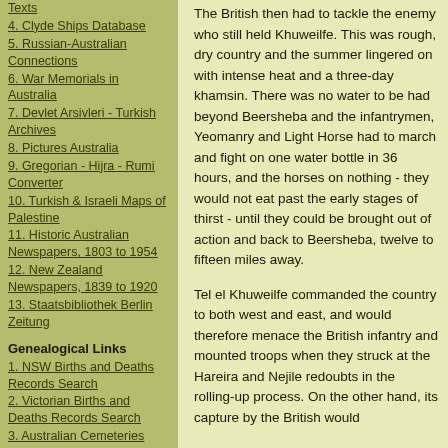Texts
4. Clyde Ships Database
5. Russian-Australian Connections
6. War Memorials in Australia
7. Devlet Arsivleri - Turkish Archives
8. Pictures Australia
9. Gregorian - Hijra - Rumi Converter
10. Turkish & Israeli Maps of Palestine
11. Historic Australian Newspapers, 1803 to 1954
12. New Zealand Newspapers, 1839 to 1920
13. Staatsbibliothek Berlin Zeitung
Genealogical Links
1. NSW Births and Deaths Records Search
2. Victorian Births and Deaths Records Search
3. Australian Cemeteries
4. England- 1901 Census
5. Scotlands People
6. Society of Australian
The British then had to tackle the enemy who still held Khuweilfe. This was rough, dry country and the summer lingered on with intense heat and a three-day khamsin. There was no water to be had beyond Beersheba and the infantrymen, Yeomanry and Light Horse had to march and fight on one water bottle in 36 hours, and the horses on nothing - they would not eat past the early stages of thirst - until they could be brought out of action and back to Beersheba, twelve to fifteen miles away.
Tel el Khuweilfe commanded the country to both west and east, and would therefore menace the British infantry and mounted troops when they struck at the Hareira and Nejile redoubts in the rolling-up process. On the other hand, its capture by the British would